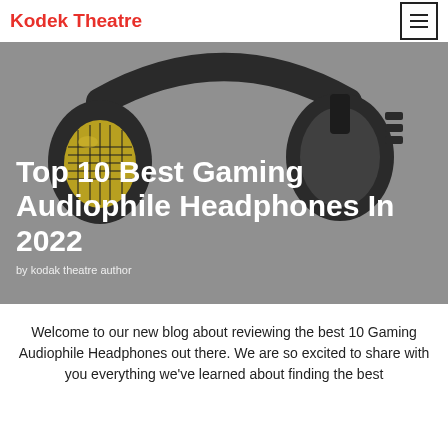Kodek Theatre
[Figure (photo): Gaming headphones (black over-ear headset with yellow/gold mesh ear cup) on a grey background. Large article hero image.]
Top 10 Best Gaming Audiophile Headphones In 2022
by kodak theatre author
Welcome to our new blog about reviewing the best 10 Gaming Audiophile Headphones out there. We are so excited to share with you everything we've learned about finding the best